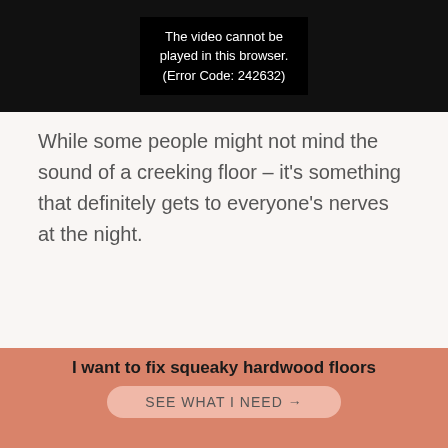[Figure (screenshot): Video player showing error message: 'The video cannot be played in this browser. (Error Code: 242632)']
While some people might not mind the sound of a creeking floor – it's something that definitely gets to everyone's nerves at the night.
I want to fix squeaky hardwood floors
SEE WHAT I NEED →